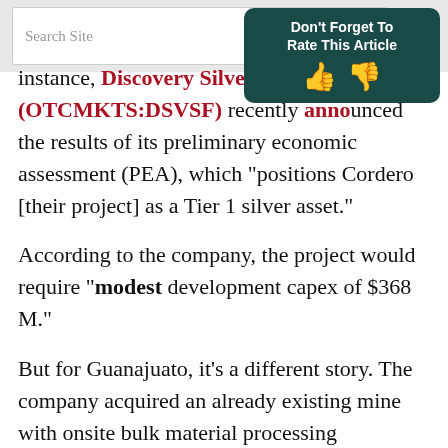Search Site
[Figure (screenshot): Don't Forget To Rate This Article box with thumbs up and thumbs down icons, dark teal background]
instance, Discovery Silver Corp. (OTCMKTS:DSVSF) recently announced the results of its preliminary economic assessment (PEA), which "positions Cordero [their project] as a Tier 1 silver asset."
According to the company, the project would require "modest development capex of $368 M."
But for Guanajuato, it's a different story. The company acquired an already existing mine with onsite bulk material processing equipment for an aggregate of about $20 million (plus $50 million in milestones) after